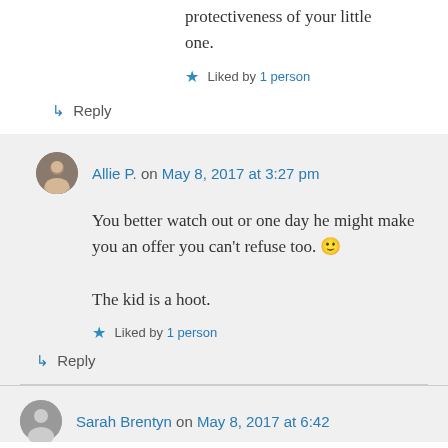protectiveness of your little one.
★ Liked by 1 person
↳ Reply
Allie P. on May 8, 2017 at 3:27 pm
You better watch out or one day he might make you an offer you can't refuse too. 🙂

The kid is a hoot.
★ Liked by 1 person
↳ Reply
Sarah Brentyn on May 8, 2017 at 6:42